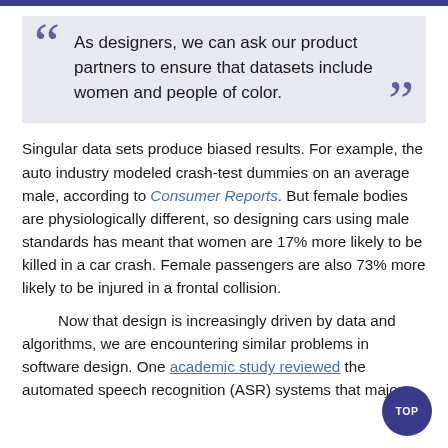As designers, we can ask our product partners to ensure that datasets include women and people of color.
Singular data sets produce biased results. For example, the auto industry modeled crash-test dummies on an average male, according to Consumer Reports. But female bodies are physiologically different, so designing cars using male standards has meant that women are 17% more likely to be killed in a car crash. Female passengers are also 73% more likely to be injured in a frontal collision.
Now that design is increasingly driven by data and algorithms, we are encountering similar problems in software design. One academic study reviewed the automated speech recognition (ASR) systems that major